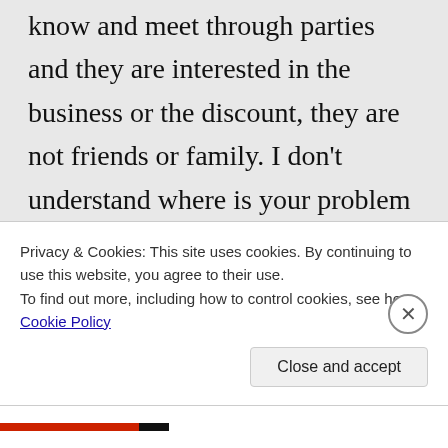know and meet through parties and they are interested in the business or the discount, they are not friends or family. I don't understand where is your problem here. I used to live in UK and I have a lot of friends that lived there, Americans, that loved and knew Usborne Books from there and made regular trips to the book store to buy them almost every month. Can you explain to me
Privacy & Cookies: This site uses cookies. By continuing to use this website, you agree to their use.
To find out more, including how to control cookies, see here: Cookie Policy